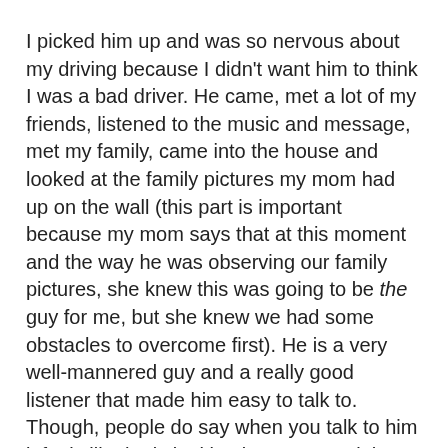I picked him up and was so nervous about my driving because I didn't want him to think I was a bad driver. He came, met a lot of my friends, listened to the music and message, met my family, came into the house and looked at the family pictures my mom had up on the wall (this part is important because my mom says that at this moment and the way he was observing our family pictures, she knew this was going to be the guy for me, but she knew we had some obstacles to overcome first). He is a very well-mannered guy and a really good listener that made him easy to talk to. Though, people do say when you talk to him it feels like he is looking into your soul that you almost have to look away, but I think it is those huge eyes of his and the fact he is really attentive. The end of the evening came and it was time for me to drive him home.
As we were leaving, my ex-boyfriend walked up to the car and reminded me that we were going to go to Denny's together with our group of friends (he had no idea I was totally infatuated with our co-worker) and that he would wait for me. He asked Ben if he wanted to go and Ben politely